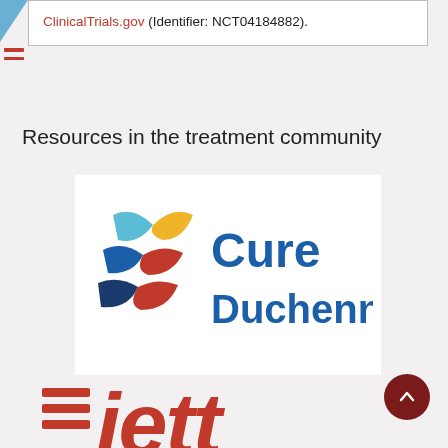ClinicalTrials.gov (Identifier: NCT04184882).
Resources in the treatment community
[Figure (logo): CureDuchenne logo — colorful ribbon/helix icon beside blue text reading 'Cure Duchenne']
[Figure (logo): Jett Foundation logo — bold red stylized text 'jett' with horizontal stripes]